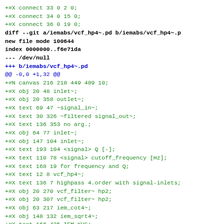+#X connect 33 0 2 0;
+#X connect 34 0 15 0;
+#X connect 36 0 19 0;
diff --git a/iemabs/vcf_hp4~.pd b/iemabs/vcf_hp4~.p
new file mode 100644
index 0000000..f6e71da
--- /dev/null
+++ b/iemabs/vcf_hp4~.pd
@@ -0,0 +1,32 @@
+#N canvas 216 218 449 489 10;
+#X obj 20 48 inlet~;
+#X obj 20 358 outlet~;
+#X text 69 47 ~signal_in~;
+#X text 30 326 ~filtered signal_out~;
+#X text 136 353 no arg.;
+#X obj 64 77 inlet~;
+#X obj 147 104 inlet~;
+#X text 193 104 <signal> Q [-];
+#X text 110 78 <signal> cutoff_frequency [Hz];
+#X text 168 19 for frequency and Q;
+#X text 12 8 vcf_hp4~;
+#X text 136 7 highpass 4.order with signal-inlets;
+#X obj 20 270 vcf_filter~ hp2;
+#X obj 20 307 vcf_filter~ hp2;
+#X obj 63 217 iem_cot4~;
+#X obj 148 132 iem_sqrt4~;
+#X text 166 425 IEM KUG;
+#X text 150 413 musil;
+#X text 180 413 @;